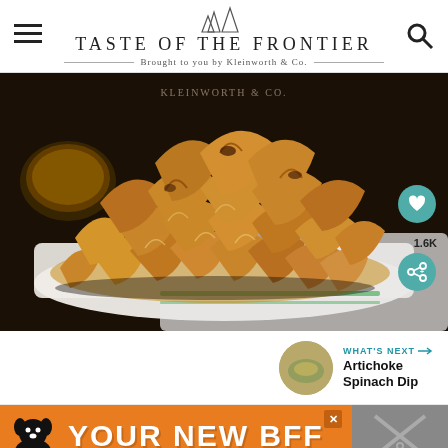TASTE OF THE FRONTIER
Brought to you by Kleinworth & Co.
[Figure (photo): A tray of golden-brown baked wontons/dumplings piled high on a white rectangular platter, with a bowl of dipping sauce visible in the background, on a dark surface with a white cloth. Watermark reads KLEINWORTH & CO.]
1.6K
WHAT'S NEXT → Artichoke Spinach Dip
[Figure (photo): Circular thumbnail of Artichoke Spinach Dip]
[Figure (infographic): Orange advertisement banner with dog silhouette and text YOUR NEW BFF]